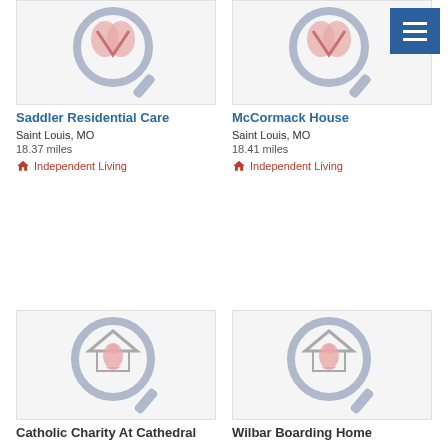[Figure (screenshot): Hamburger menu button (blue background, three white horizontal lines) in top-right corner]
[Figure (screenshot): Placeholder image with magnifying glass icon and leaf/shield for Saddler Residential Care]
Saddler Residential Care
Saint Louis, MO
18.37 miles
Independent Living
[Figure (screenshot): Placeholder image with magnifying glass icon and leaf/shield for McCormack House]
McCormack House
Saint Louis, MO
18.41 miles
Independent Living
[Figure (screenshot): Placeholder image with magnifying glass icon and house/person icon for Catholic Charity At Cathedral]
Catholic Charity At Cathedral
[Figure (screenshot): Placeholder image with magnifying glass icon and house/person icon for Wilbar Boarding Home]
Wilbar Boarding Home